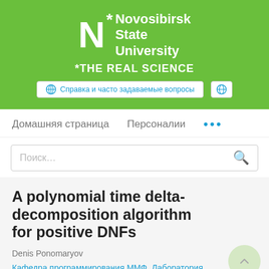[Figure (logo): Novosibirsk State University logo with green background, white N letter, asterisk, and text 'Novosibirsk State University *THE REAL SCIENCE']
🌐 Справка и часто задаваемые вопросы
Домашняя страница   Персоналии   ...
Поиск…
A polynomial time delta-decomposition algorithm for positive DNFs
Denis Ponomaryov
Кафедра программирования ММФ, Лаборатория